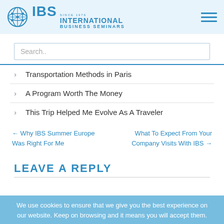IBS International Business Seminars — Since 1976
Search..
Transportation Methods in Paris
A Program Worth The Money
This Trip Helped Me Evolve As A Traveler
← Why IBS Summer Europe Was Right For Me
What To Expect From Your Company Visits With IBS →
LEAVE A REPLY
We use cookies to ensure that we give you the best experience on our website. Keep on browsing and it means you will accept them.